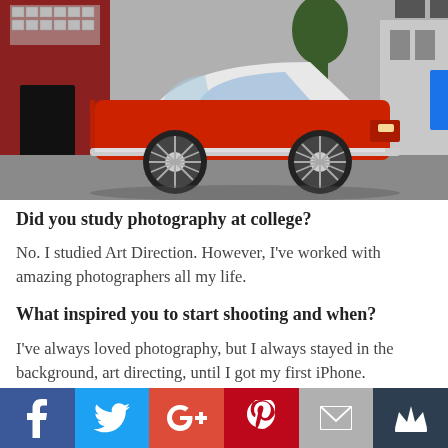[Figure (photo): A red classic convertible car with chrome spoke wheels parked on a street in front of a red brick building.]
Did you study photography at college?
No. I studied Art Direction. However, I’ve worked with amazing photographers all my life.
What inspired you to start shooting and when?
I’ve always loved photography, but I always stayed in the background, art directing, until I got my first iPhone.